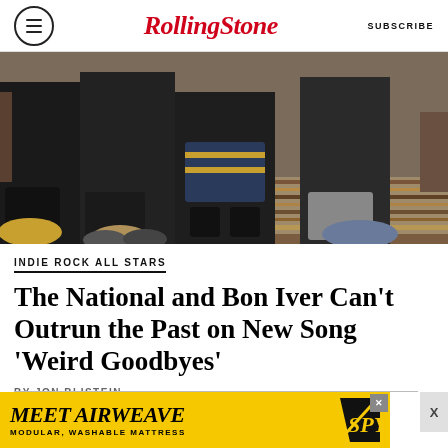RollingStone  SUBSCRIBE
[Figure (photo): Band members of The National seated and lounging on a striped rug in a room, shot from the waist down showing their legs and shoes.]
INDIE ROCK ALL STARS
The National and Bon Iver Can't Outrun the Past on New Song 'Weird Goodbyes'
BY JON BLISTEIN
READ MORE
[Figure (other): Advertisement banner: MEET AIRWEAVE / MODULAR, WASHABLE MATTRESS with SPY logo]